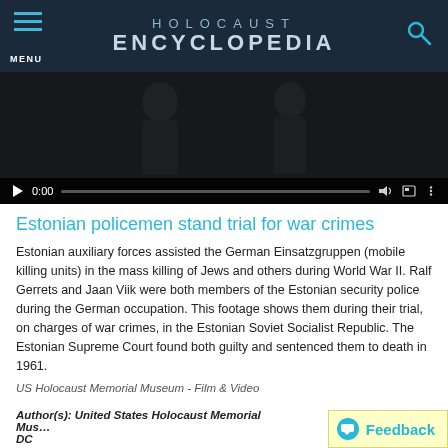HOLOCAUST ENCYCLOPEDIA
[Figure (screenshot): Video player thumbnail showing two figures in black and white, with controls showing 0:00 timestamp]
Estonian policemen stand trial for war crimes
Estonian auxiliary forces assisted the German Einsatzgruppen (mobile killing units) in the mass killing of Jews and others during World War II. Ralf Gerrets and Jaan Viik were both members of the Estonian security police during the German occupation. This footage shows them during their trial, on charges of war crimes, in the Estonian Soviet Socialist Republic. The Estonian Supreme Court found both guilty and sentenced them to death in 1961.
US Holocaust Memorial Museum - Film & Video
Author(s): United States Holocaust Memorial Museum, Washington, DC